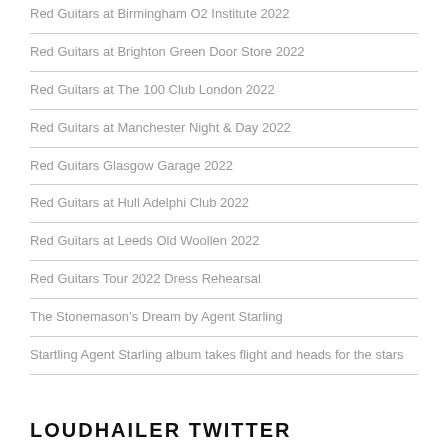Red Guitars at Birmingham O2 Institute 2022
Red Guitars at Brighton Green Door Store 2022
Red Guitars at The 100 Club London 2022
Red Guitars at Manchester Night & Day 2022
Red Guitars Glasgow Garage 2022
Red Guitars at Hull Adelphi Club 2022
Red Guitars at Leeds Old Woollen 2022
Red Guitars Tour 2022 Dress Rehearsal
The Stonemason's Dream by Agent Starling
Startling Agent Starling album takes flight and heads for the stars
LOUDHAILER TWITTER